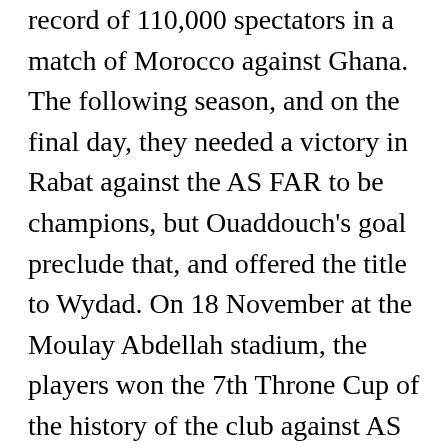record of 110,000 spectators in a match of Morocco against Ghana. The following season, and on the final day, they needed a victory in Rabat against the AS FAR to be champions, but Ouaddouch's goal preclude that, and offered the title to Wydad. On 18 November at the Moulay Abdellah stadium, the players won the 7th Throne Cup of the history of the club against AS FAR following a penalty shootout after regulation time ended in a 0-0 draw. The team's forward Moussa Hanoune was crowned as the league's top scorer with 22 goals, a record at the time. MAROC, 17 avr. Raja CA became the second club to reach the FIFA Club World final as the host nation's national champions, after